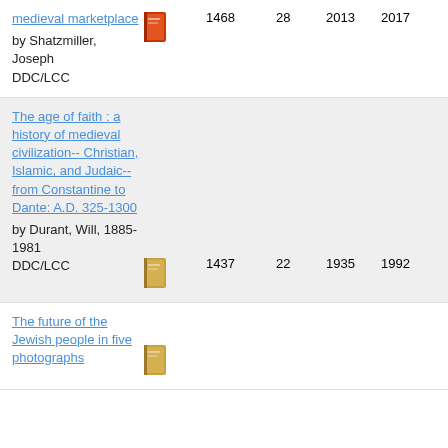| Title/Author | Icon | ID | Count | Year1 | Year2 |
| --- | --- | --- | --- | --- | --- |
| medieval marketplace
by Shatzmiller, Joseph
DDC/LCC |  | 1468 | 28 | 2013 | 2017 |
| The age of faith : a history of medieval civilization-- Christian, Islamic, and Judaic-- from Constantine to Dante: A.D. 325-1300
by Durant, Will, 1885-1981
DDC/LCC |  | 1437 | 22 | 1935 | 1992 |
| The future of the Jewish people in five photographs |  | 1437 | 6 | 2013 | 2013 |